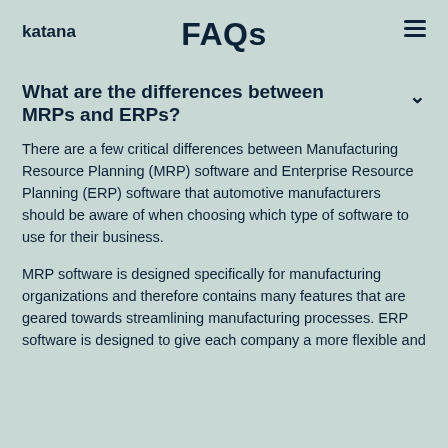katana   FAQs   ≡
What are the differences between MRPs and ERPs?
There are a few critical differences between Manufacturing Resource Planning (MRP) software and Enterprise Resource Planning (ERP) software that automotive manufacturers should be aware of when choosing which type of software to use for their business.
MRP software is designed specifically for manufacturing organizations and therefore contains many features that are geared towards streamlining manufacturing processes. ERP software is designed to give each company a more flexible and